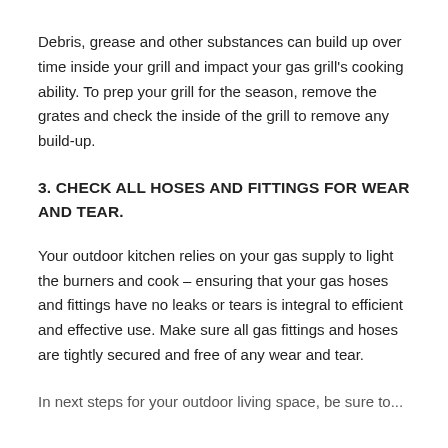Debris, grease and other substances can build up over time inside your grill and impact your gas grill's cooking ability. To prep your grill for the season, remove the grates and check the inside of the grill to remove any build-up.
3. CHECK ALL HOSES AND FITTINGS FOR WEAR AND TEAR.
Your outdoor kitchen relies on your gas supply to light the burners and cook – ensuring that your gas hoses and fittings have no leaks or tears is integral to efficient and effective use. Make sure all gas fittings and hoses are tightly secured and free of any wear and tear.
As a result of my experience, I have seen that...